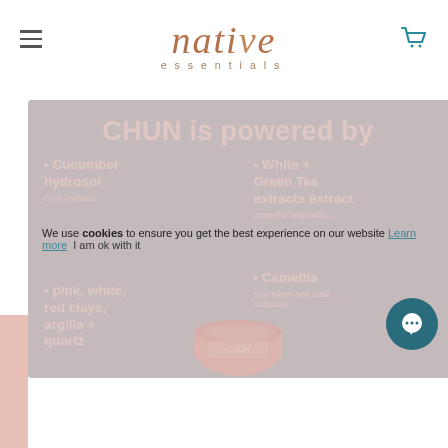native essentials
[Figure (screenshot): Native Essentials e-commerce website header with hamburger menu, brand logo in terracotta serif italic font reading 'native essentials', and teal shopping cart icon]
CHUN is powered by
• Cucumber hydrosol
cool hydrate
• White + Green Tea extracts extract
powerful antioxidant
• pink white, red clays, argilla + quartz
• Camellia
nourishes and seals in moisture
We use cookies to ensure you get the best experience on our website Learn more
[Figure (photo): Pink clay facial mask jar product labeled CHUN]